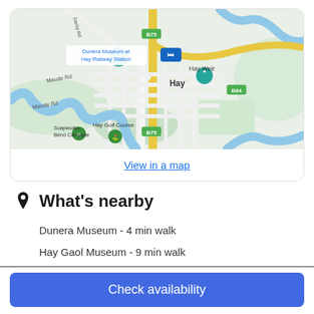[Figure (map): Google Maps view of Hay, NSW area showing Dunera Museum at Hay Railway Station, Hay Weir, Soapworks Bend Campsite, Hay Golf Course, roads including Maude Rd, and the Murrumbidgee River]
View in a map
What's nearby
Dunera Museum - 4 min walk
Hay Gaol Museum - 9 min walk
Hay Heritage Walk - 2 min drive
Check availability